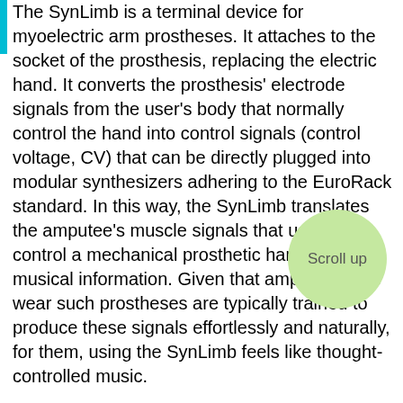The SynLimb is a terminal device for myoelectric arm prostheses. It attaches to the socket of the prosthesis, replacing the electric hand. It converts the prosthesis' electrode signals from the user's body that normally control the hand into control signals (control voltage, CV) that can be directly plugged into modular synthesizers adhering to the EuroRack standard. In this way, the SynLimb translates the amputee's muscle signals that usually control a mechanical prosthetic hand into musical information. Given that amputees who wear such prostheses are typically trained to produce these signals effortlessly and naturally, for them, using the SynLimb feels like thought-controlled music.

Apart from the electronic functionality, the design of the 3d-printed outer shell/casing of the SynLimb is guided by its function, the...